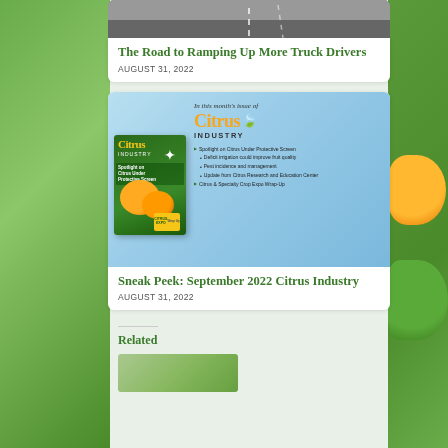[Figure (photo): Road/highway photo showing asphalt with white dashed lane markings]
The Road to Ramping Up More Truck Drivers
AUGUST 31, 2022
[Figure (photo): Citrus Industry magazine cover and promotional banner showing September 2022 issue with spotlight on Citrus Under Protective Screen, magazine cover image with oranges, and bullet list of contents]
Sneak Peek: September 2022 Citrus Industry
AUGUST 31, 2022
Related
[Figure (photo): Thumbnail image (partial, bottom of page) related article photo]